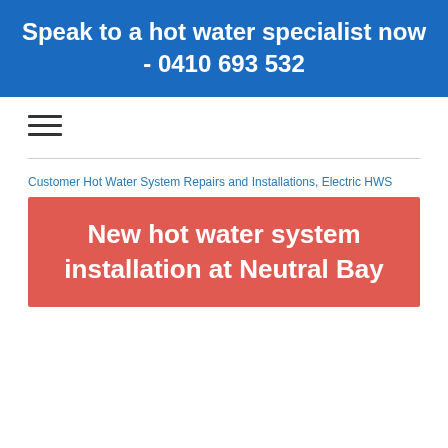Speak to a hot water specialist now - 0410 693 532
[Figure (other): Hamburger menu icon (three horizontal lines)]
Customer Hot Water System Repairs and Installations, Electric HWS
New hot water system installation at Neutral Bay